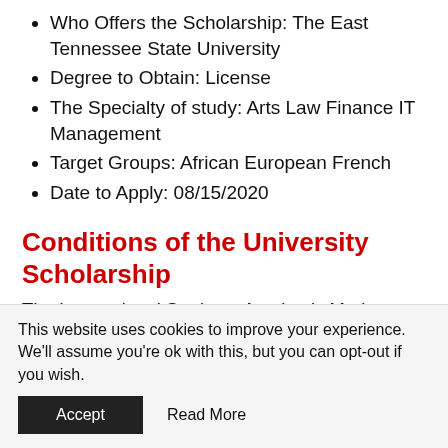Who Offers the Scholarship: The East Tennessee State University
Degree to Obtain: License
The Specialty of study: Arts Law Finance IT Management
Target Groups: African European French
Date to Apply: 08/15/2020
Conditions of the University Scholarship
The International Students Academic Merit Scholarship is available to eligible new
This website uses cookies to improve your experience. We'll assume you're ok with this, but you can opt-out if you wish.